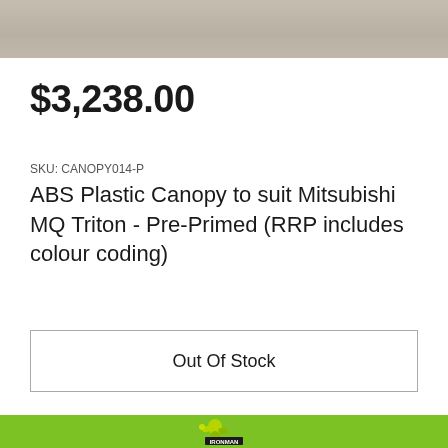[Figure (photo): Top portion of a product image showing a textured gray/beige surface (canopy material)]
$3,238.00
SKU: CANOPY014-P
ABS Plastic Canopy to suit Mitsubishi MQ Triton - Pre-Primed (RRP includes colour coding)
Out Of Stock
[Figure (logo): Ironman 4x4 logo on green background with muscular figure mascot and text 'IRONMAN' in black bar, followed by 'IMAGE' text partially visible at bottom]